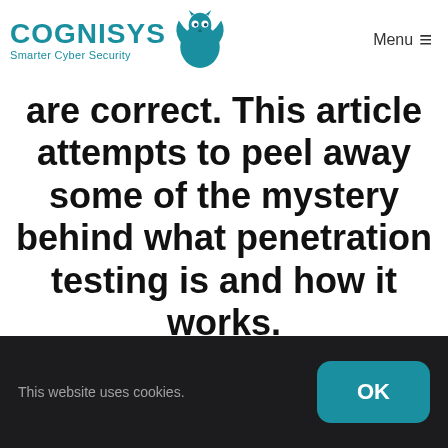COGNISYS Smarter Cyber Security | Menu
are correct. This article attempts to peel away some of the mystery behind what penetration testing is and how it works.
Felix
Penetration Tester
This website uses cookies.